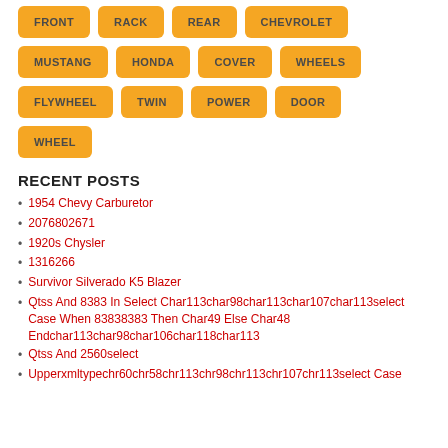FRONT
RACK
REAR
CHEVROLET
MUSTANG
HONDA
COVER
WHEELS
FLYWHEEL
TWIN
POWER
DOOR
WHEEL
RECENT POSTS
1954 Chevy Carburetor
2076802671
1920s Chysler
1316266
Survivor Silverado K5 Blazer
Qtss And 8383 In Select Char113char98char113char107char113select Case When 83838383 Then Char49 Else Char48 Endchar113char98char106char118char113
Qtss And 2560select
Upperxmltypechr60chr58chr113chr98chr113chr107chr113select Case